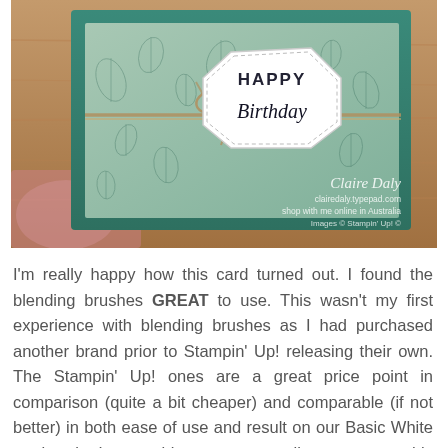[Figure (photo): A handmade Happy Birthday card with teal/green background, decorative botanical stamped pattern, a white hexagonal tag reading 'HAPPY Birthday' in mixed fonts, tied with twine bow. Card sits on a wooden surface. Watermark reads 'Claire Daly, clairedaly.typepad.com, shop with me online in Australia, Images © Stampin' Up! ©']
I'm really happy how this card turned out. I found the blending brushes GREAT to use. This wasn't my first experience with blending brushes as I had purchased another brand prior to Stampin' Up! releasing their own. The Stampin' Up! ones are a great price point in comparison (quite a bit cheaper) and comparable (if not better) in both ease of use and result on our Basic White cardstock. I was able to get a really great smoothly blended result.